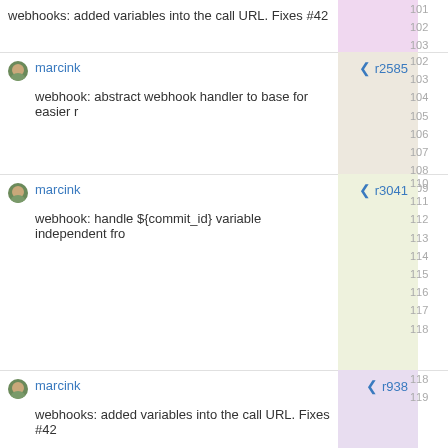webhooks: added variables into the call URL. Fixes #42
marcink  r2585
webhook: abstract webhook handler to base for easier r
marcink  r3041
webhook: handle ${commit_id} variable independent fro
marcink  r938
webhooks: added variables into the call URL. Fixes #42